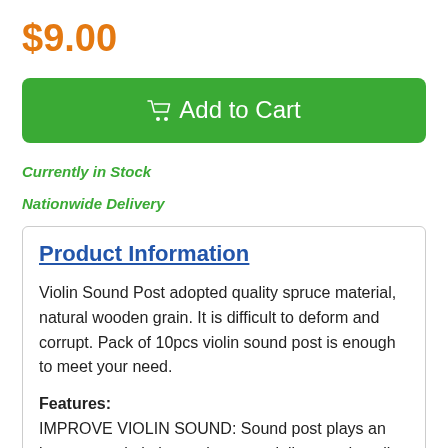$9.00
[Figure (other): Green Add to Cart button with shopping cart icon]
Currently in Stock
Nationwide Delivery
Product Information
Violin Sound Post adopted quality spruce material, natural wooden grain. It is difficult to deform and corrupt. Pack of 10pcs violin sound post is enough to meet your need.
Features: IMPROVE VIOLIN SOUND: Sound post plays an important role in improving your violin sound quality.